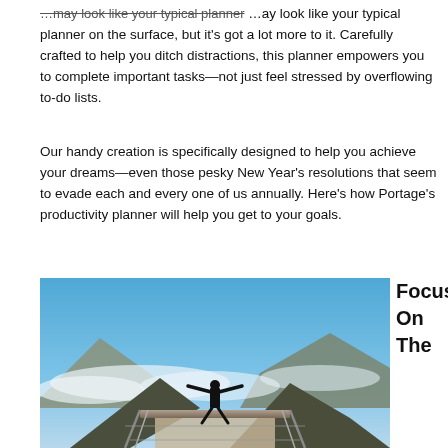…may look like your typical planner on the surface, but it's got a lot more to it. Carefully crafted to help you ditch distractions, this planner empowers you to complete important tasks—not just feel stressed by overflowing to-do lists.
Our handy creation is specifically designed to help you achieve your dreams—even those pesky New Year's resolutions that seem to evade each and every one of us annually. Here's how Portage's productivity planner will help you get to your goals.
[Figure (photo): Person standing on a high mountain overlook bridge/walkway with arms outstretched, blue sky and clouds and mountain peaks visible below]
Focus
On
The